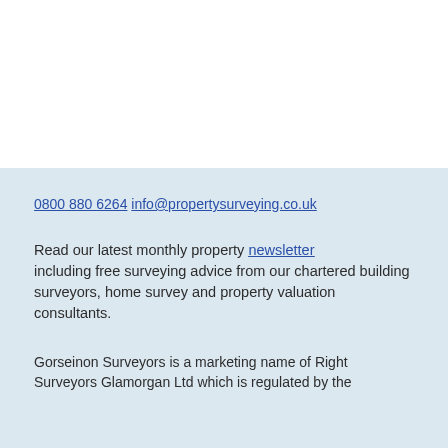0800 880 6264 info@propertysurveying.co.uk
Read our latest monthly property newsletter including free surveying advice from our chartered building surveyors, home survey and property valuation consultants.
Gorseinon Surveyors is a marketing name of Right Surveyors Glamorgan Ltd which is regulated by the